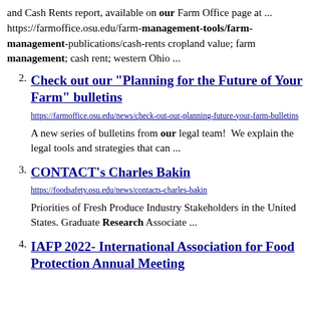and Cash Rents report, available on our Farm Office page at ... https://farmoffice.osu.edu/farm-management-tools/farm-management-publications/cash-rents cropland value; farm management; cash rent; western Ohio ...
2. Check out our "Planning for the Future of Your Farm" bulletins
https://farmoffice.osu.edu/news/check-out-our-planning-future-your-farm-bulletins
A new series of bulletins from our legal team!  We explain the legal tools and strategies that can ...
3. CONTACT's Charles Bakin
https://foodsafety.osu.edu/news/contacts-charles-bakin
Priorities of Fresh Produce Industry Stakeholders in the United States. Graduate Research Associate ...
4. IAFP 2022- International Association for Food Protection Annual Meeting